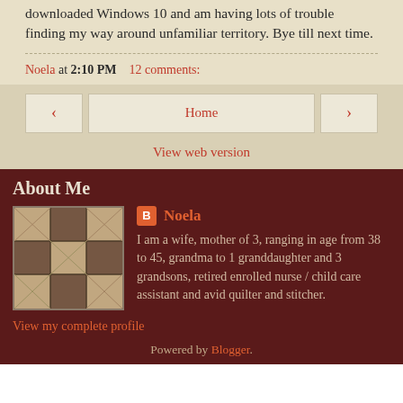downloaded Windows 10 and am having lots of trouble finding my way around unfamiliar territory. Bye till next time.
Noela at 2:10 PM    12 comments:
Home
View web version
About Me
[Figure (photo): Profile photo showing a quilt displayed on a wall or frame]
Noela
I am a wife, mother of 3, ranging in age from 38 to 45, grandma to 1 granddaughter and 3 grandsons, retired enrolled nurse / child care assistant and avid quilter and stitcher.
View my complete profile
Powered by Blogger.